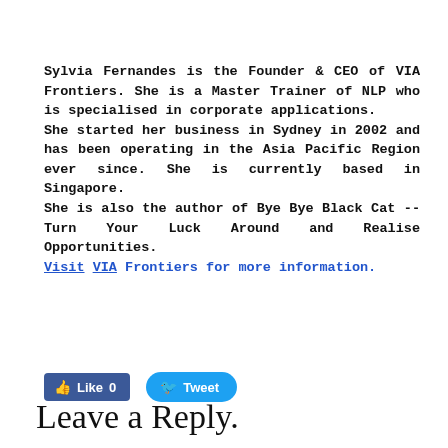Sylvia Fernandes is the Founder & CEO of VIA Frontiers. She is a Master Trainer of NLP who is specialised in corporate applications. She started her business in Sydney in 2002 and has been operating in the Asia Pacific Region ever since. She is currently based in Singapore. She is also the author of Bye Bye Black Cat -- Turn Your Luck Around and Realise Opportunities. Visit VIA Frontiers for more information.
[Figure (other): Facebook Like button showing 0 likes and a Twitter Tweet button]
Leave a Reply.